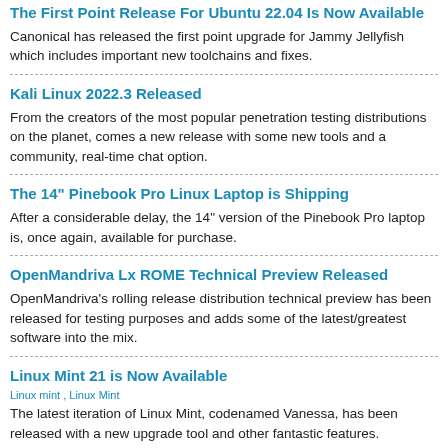The First Point Release For Ubuntu 22.04 Is Now Available
Canonical has released the first point upgrade for Jammy Jellyfish which includes important new toolchains and fixes.
Kali Linux 2022.3 Released
From the creators of the most popular penetration testing distributions on the planet, comes a new release with some new tools and a community, real-time chat option.
The 14" Pinebook Pro Linux Laptop is Shipping
After a considerable delay, the 14" version of the Pinebook Pro laptop is, once again, available for purchase.
OpenMandriva Lx ROME Technical Preview Released
OpenMandriva's rolling release distribution technical preview has been released for testing purposes and adds some of the latest/greatest software into the mix.
Linux Mint 21 is Now Available
Linux mint , Linux Mint
The latest iteration of Linux Mint, codenamed Vanessa, has been released with a new upgrade tool and other fantastic features.